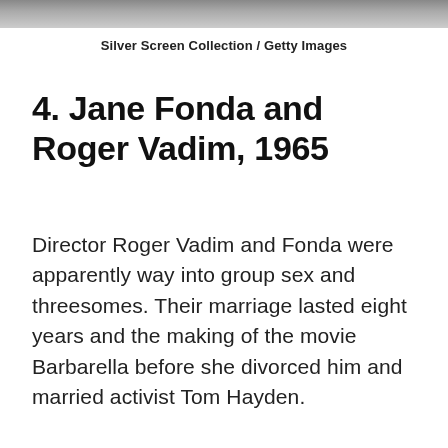[Figure (photo): Top portion of a black and white photograph, cropped — showing partial figures against a dark background.]
Silver Screen Collection / Getty Images
4. Jane Fonda and Roger Vadim, 1965
Director Roger Vadim and Fonda were apparently way into group sex and threesomes. Their marriage lasted eight years and the making of the movie Barbarella before she divorced him and married activist Tom Hayden.